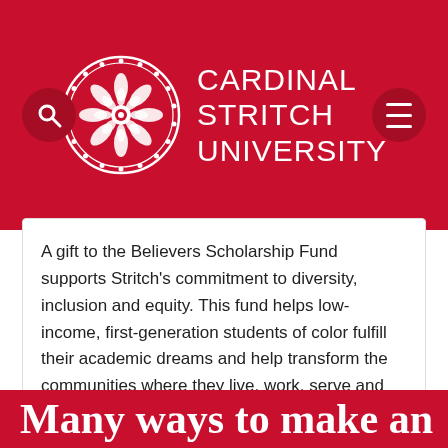[Figure (logo): Cardinal Stritch University header with red background, circular ornamental logo, search button, and hamburger menu button]
A gift to the Believers Scholarship Fund supports Stritch's commitment to diversity, inclusion and equity. This fund helps low-income, first-generation students of color fulfill their academic dreams and help transform the communities where they live, work, serve and lead.
Invest in Believers
Many ways to make an